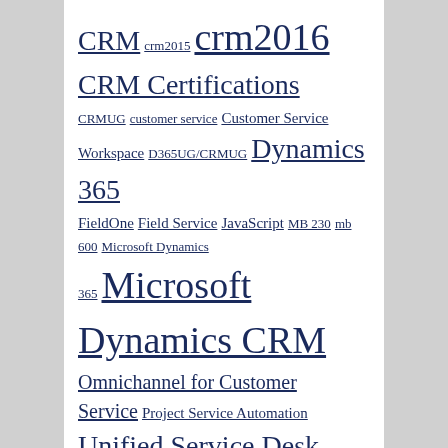CRM crm2015 crm2016 CRM Certifications CRMUG customer service Customer Service Workspace D365UG/CRMUG Dynamics 365 FieldOne Field Service JavaScript MB 230 mb 600 Microsoft Dynamics 365 Microsoft Dynamics CRM Omnichannel for Customer Service Project Service Automation Unified Service Desk USD
Follow me on Twitter
My Tweets
NEIL PARKHURST